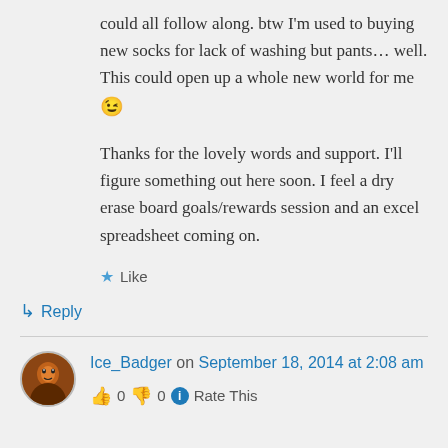could all follow along. btw I'm used to buying new socks for lack of washing but pants… well. This could open up a whole new world for me 😉
Thanks for the lovely words and support. I'll figure something out here soon. I feel a dry erase board goals/rewards session and an excel spreadsheet coming on.
★ Like
↳ Reply
Ice_Badger on September 18, 2014 at 2:08 am
👍 0 👎 0 ℹ Rate This